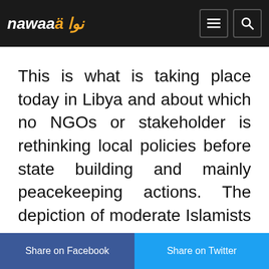nawaa نوا
This is what is taking place today in Libya and about which no NGOs or stakeholder is rethinking local policies before state building and mainly peacekeeping actions. The depiction of moderate Islamists is very strong and dangerously addressed to the western audience today even more culturally socially and politically no educated to what Political Islam, at least doctrinally,
Share on Facebook   Share on Twitter